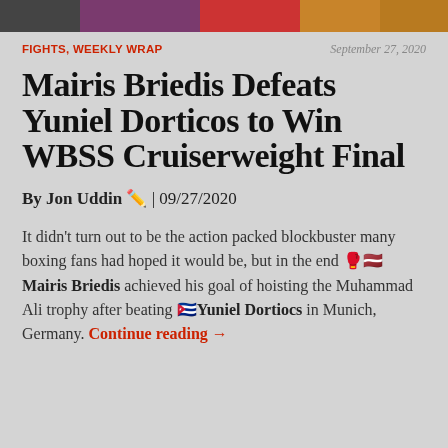[Figure (photo): Top image banner showing boxing-related imagery with dark and colorful tones]
FIGHTS, WEEKLY WRAP    September 27, 2020
Mairis Briedis Defeats Yuniel Dorticos to Win WBSS Cruiserweight Final
By Jon Uddin ✏️ | 09/27/2020
It didn't turn out to be the action packed blockbuster many boxing fans had hoped it would be, but in the end 🥊🇱🇻 Mairis Briedis achieved his goal of hoisting the Muhammad Ali trophy after beating 🇨🇺 Yuniel Dortiocs in Munich, Germany. Continue reading →